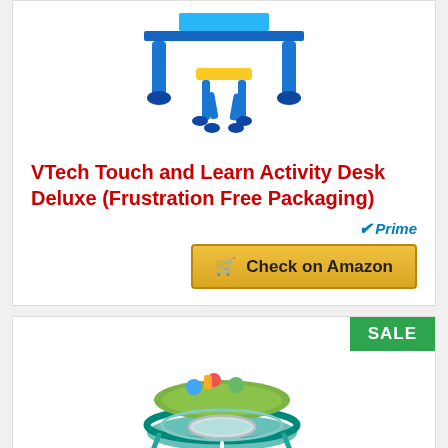[Figure (photo): VTech Touch and Learn Activity Desk Deluxe product photo showing blue table with yellow stool]
VTech Touch and Learn Activity Desk Deluxe (Frustration Free Packaging)
[Figure (logo): Amazon Prime checkmark badge with 'Prime' text in blue]
[Figure (other): Check on Amazon golden button with shopping cart icon]
[Figure (photo): Baby activity walker/table toy product photo in teal and green with figures on top, shown with two children using it below]
SALE